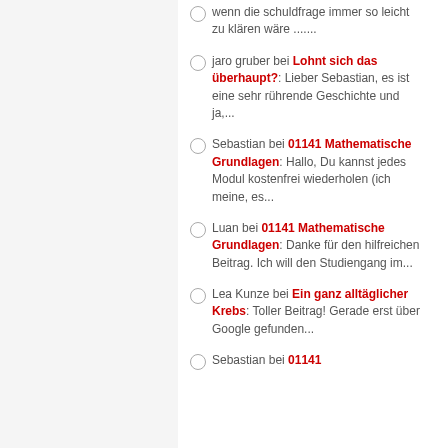wenn die schuldfrage immer so leicht zu klären wäre .......
jaro gruber bei Lohnt sich das überhaupt?: Lieber Sebastian, es ist eine sehr rührende Geschichte und ja,...
Sebastian bei 01141 Mathematische Grundlagen: Hallo, Du kannst jedes Modul kostenfrei wiederholen (ich meine, es...
Luan bei 01141 Mathematische Grundlagen: Danke für den hilfreichen Beitrag. Ich will den Studiengang im...
Lea Kunze bei Ein ganz alltäglicher Krebs: Toller Beitrag! Gerade erst über Google gefunden...
Sebastian bei 01141